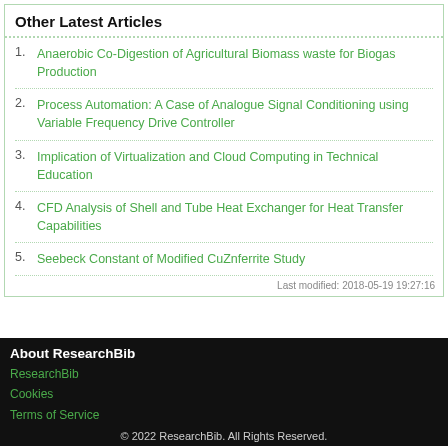Other Latest Articles
Anaerobic Co-Digestion of Agricultural Biomass waste for Biogas Production
Process Automation: A Case of Analogue Signal Conditioning using Variable Frequency Drive Controller
Implication of Virtualization and Cloud Computing in Technical Education
CFD Analysis of Shell and Tube Heat Exchanger for Heat Transfer Capabilities
Seebeck Constant of Modified CuZnferrite Study
Last modified: 2018-05-19 19:27:16
About ResearchBib
ResearchBib
Cookies
Terms of Service
© 2022 ResearchBib. All Rights Reserved.